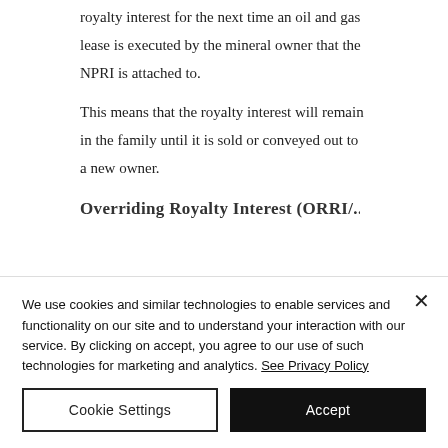royalty interest for the next time an oil and gas lease is executed by the mineral owner that the NPRI is attached to.
This means that the royalty interest will remain in the family until it is sold or conveyed out to a new owner.
Overriding Royalty Interest (ORRI/...
We use cookies and similar technologies to enable services and functionality on our site and to understand your interaction with our service. By clicking on accept, you agree to our use of such technologies for marketing and analytics. See Privacy Policy